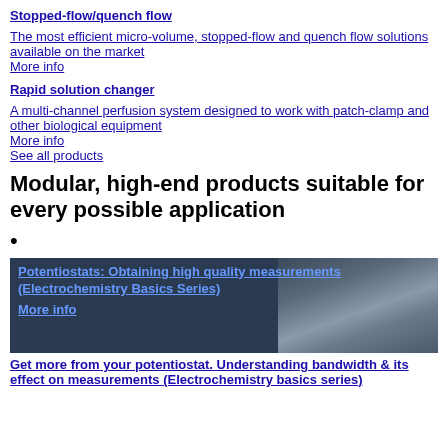Stopped-flow/quench flow
The most efficient micro-volume, stopped-flow and quench flow solutions available on the market
More info
Rapid solution changer
A multi-channel perfusion system designed to work with patch-clamp and other biological equipment
More info
See all products
Modular, high-end products suitable for every possible application
[Figure (photo): Dark background image with a person visible on the right side, overlaid with blue hyperlinks about Potentiostats and Electrochemistry Basics Series]
Get more from your potentiostat. Understanding bandwidth & its effect on measurements (Electrochemistry basics series)